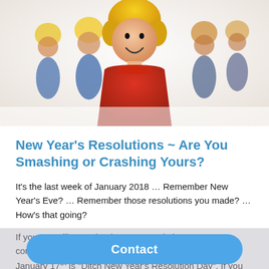[Figure (photo): Photo of colorful Fisher-Price style toy people figures. A red-bodied blonde figure stands in the foreground smiling, with several blue-bodied blonde and brown-haired figures in the background, on a white surface.]
New Year’s Resolutions ∼ Are You Smashing or Crashing Yours?
It’s the last week of January 2018 … Remember New Year’s Eve? … Remember those resolutions you made? … How’s that going?
If you are still committed to your resolutions, congratulations !! I recently read an article that said January 17th is “Ditch New Year’s Resolution Day”. If you “ditched” it, that means your
Contact